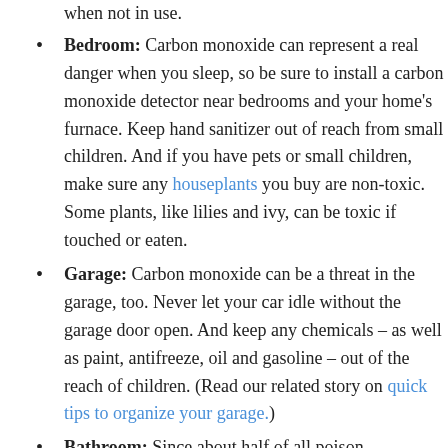when not in use.
Bedroom: Carbon monoxide can represent a real danger when you sleep, so be sure to install a carbon monoxide detector near bedrooms and your home's furnace. Keep hand sanitizer out of reach from small children. And if you have pets or small children, make sure any houseplants you buy are non-toxic. Some plants, like lilies and ivy, can be toxic if touched or eaten.
Garage: Carbon monoxide can be a threat in the garage, too. Never let your car idle without the garage door open. And keep any chemicals – as well as paint, antifreeze, oil and gasoline – out of the reach of children. (Read our related story on quick tips to organize your garage.)
Bathroom: Since about half of all poison